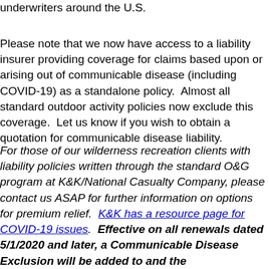underwriters around the U.S.
Please note that we now have access to a liability insurer providing coverage for claims based upon or arising out of communicable disease (including COVID-19) as a standalone policy.  Almost all standard outdoor activity policies now exclude this coverage.  Let us know if you wish to obtain a quotation for communicable disease liability.
For those of our wilderness recreation clients with liability policies written through the standard O&G program at K&K/National Casualty Company, please contact us ASAP for further information on options for premium relief.  K&K has a resource page for COVID-19 issues.  Effective on all renewals dated 5/1/2020 and later, a Communicable Disease Exclusion will be added to and the Transmissible Pathogen Coverage will be removed from